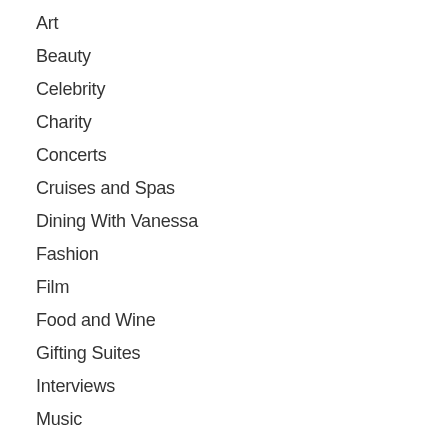Art
Beauty
Celebrity
Charity
Concerts
Cruises and Spas
Dining With Vanessa
Fashion
Film
Food and Wine
Gifting Suites
Interviews
Music